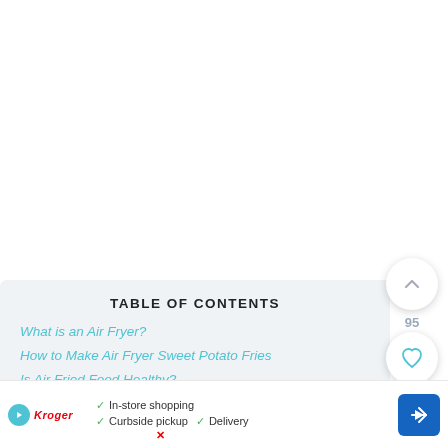TABLE OF CONTENTS
What is an Air Fryer?
How to Make Air Fryer Sweet Potato Fries
Is Air Fried Food Healthy?
Obsessed with Sweet Potatoes? So Are We!
Air F...
[Figure (screenshot): UI overlay with scroll-up button, heart/like button (95), and teal search button on the right side]
[Figure (infographic): Advertisement banner for Kroger showing In-store shopping, Curbside pickup, and Delivery options with a navigation arrow icon]